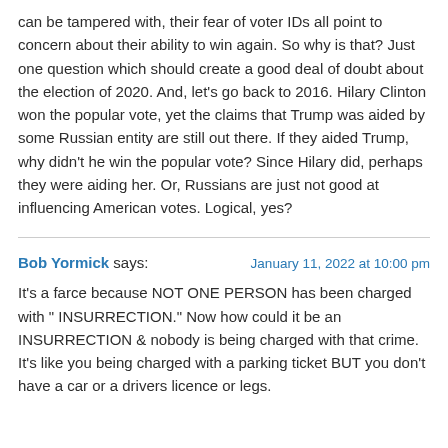can be tampered with, their fear of voter IDs all point to concern about their ability to win again. So why is that? Just one question which should create a good deal of doubt about the election of 2020. And, let's go back to 2016. Hilary Clinton won the popular vote, yet the claims that Trump was aided by some Russian entity are still out there. If they aided Trump, why didn't he win the popular vote? Since Hilary did, perhaps they were aiding her. Or, Russians are just not good at influencing American votes. Logical, yes?
Bob Yormick says: | January 11, 2022 at 10:00 pm
It's a farce because NOT ONE PERSON has been charged with " INSURRECTION." Now how could it be an INSURRECTION & nobody is being charged with that crime.
It's like you being charged with a parking ticket BUT you don't have a car or a drivers licence or legs.